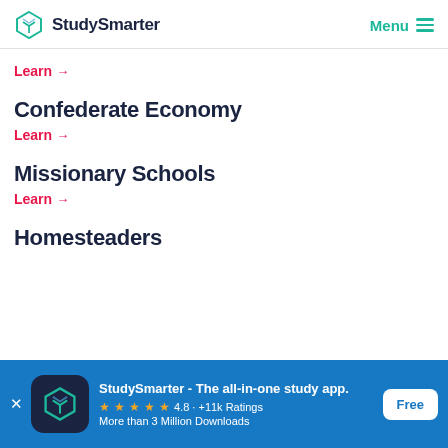StudySmarter  Menu
Learn →
Confederate Economy
Learn →
Missionary Schools
Learn →
Homesteaders
[Figure (screenshot): App download banner: StudySmarter - The all-in-one study app. 4.8 · +11k Ratings. More than 3 Million Downloads. Free button.]